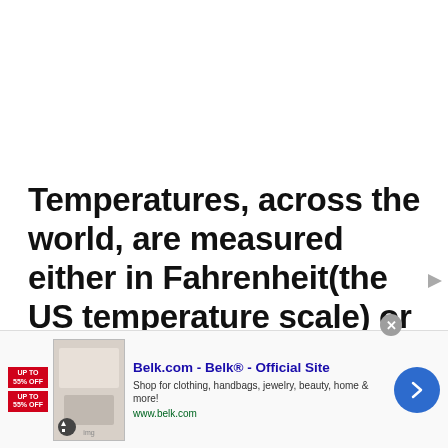Temperatures, across the world, are measured either in Fahrenheit(the US temperature scale) or Celsius(the metric scale), two of the most popular and widely used scales.
Temperature Conversion - Degrees Fahrenheit in...
[Figure (other): Search button (circular blue button with magnifying glass icon) and advertisement banner for Belk.com showing shopping images, close button, and navigation arrow]